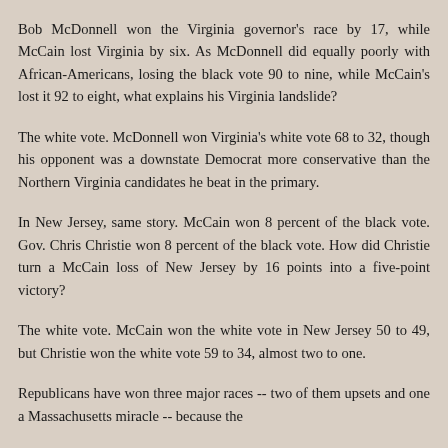Bob McDonnell won the Virginia governor's race by 17, while McCain lost Virginia by six. As McDonnell did equally poorly with African-Americans, losing the black vote 90 to nine, while McCain's lost it 92 to eight, what explains his Virginia landslide?
The white vote. McDonnell won Virginia's white vote 68 to 32, though his opponent was a downstate Democrat more conservative than the Northern Virginia candidates he beat in the primary.
In New Jersey, same story. McCain won 8 percent of the black vote. Gov. Chris Christie won 8 percent of the black vote. How did Christie turn a McCain loss of New Jersey by 16 points into a five-point victory?
The white vote. McCain won the white vote in New Jersey 50 to 49, but Christie won the white vote 59 to 34, almost two to one.
Republicans have won three major races -- two of them upsets and one a Massachusetts miracle -- because the